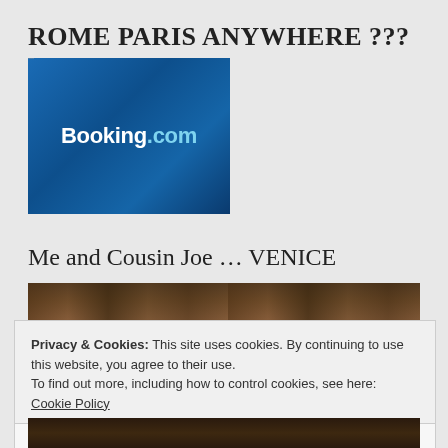ROME PARIS ANYWHERE ???
[Figure (logo): Booking.com logo on dark blue gradient background]
Me and Cousin Joe … VENICE
[Figure (photo): Photo strip showing people in Venice]
Privacy & Cookies: This site uses cookies. By continuing to use this website, you agree to their use.
To find out more, including how to control cookies, see here: Cookie Policy
Close and accept
[Figure (photo): Bottom portion of Venice photo]